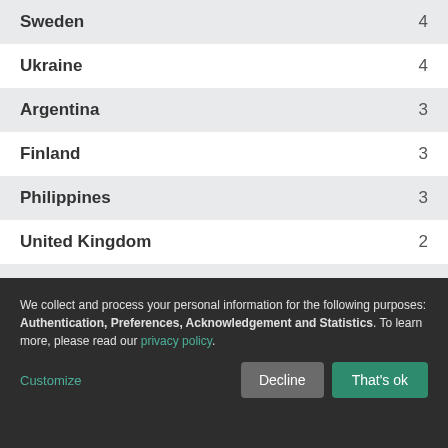| Country | Count |
| --- | --- |
| Sweden | 4 |
| Ukraine | 4 |
| Argentina | 3 |
| Finland | 3 |
| Philippines | 3 |
| United Kingdom | 2 |
| Netherlands | 2 |
We collect and process your personal information for the following purposes: Authentication, Preferences, Acknowledgement and Statistics. To learn more, please read our privacy policy.